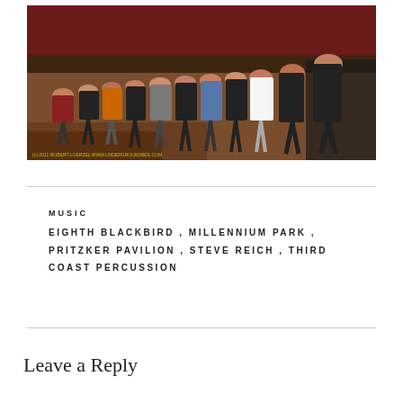[Figure (photo): Group of performers bowing on a stage in a concert hall, red curtain in the background, watermark text reading '(c) 2011 ROBERT LOERZEL WWW.UNDERGROUNDBEE.COM' at the bottom left of the image.]
MUSIC
EIGHTH BLACKBIRD , MILLENNIUM PARK , PRITZKER PAVILION , STEVE REICH , THIRD COAST PERCUSSION
Leave a Reply